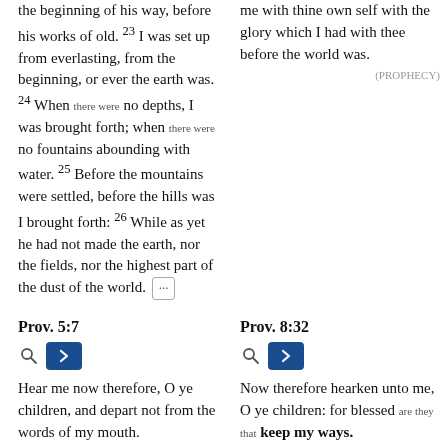the beginning of his way, before his works of old. 23 I was set up from everlasting, from the beginning, or ever the earth was. 24 When there were no depths, I was brought forth; when there were no fountains abounding with water. 25 Before the mountains were settled, before the hills was I brought forth: 26 While as yet he had not made the earth, nor the fields, nor the highest part of the dust of the world. [...]
me with thine own self with the glory which I had with thee before the world was.
(PROPHECY)
Prov. 5:7
Prov. 8:32
Hear me now therefore, O ye children, and depart not from the words of my mouth.
Now therefore hearken unto me, O ye children: for blessed are they that keep my ways.
(PARALLEL)